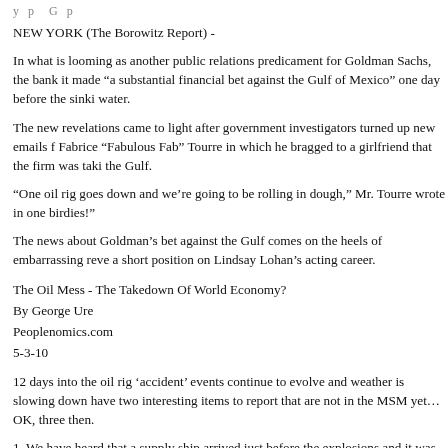y p G p
NEW YORK (The Borowitz Report) -
In what is looming as another public relations predicament for Goldman Sachs, the bank it made “a substantial financial bet against the Gulf of Mexico” one day before the sinki water.
The new revelations came to light after government investigators turned up new emails f Fabrice “Fabulous Fab” Tourre in which he bragged to a girlfriend that the firm was taki the Gulf.
“One oil rig goes down and we’re going to be rolling in dough,” Mr. Tourre wrote in one birdies!”
The news about Goldman’s bet against the Gulf comes on the heels of embarrassing reve a short position on Lindsay Lohan’s acting career.
The Oil Mess - The Takedown Of World Economy?
By George Ure
Peoplenomics.com
5-3-10
12 days into the oil rig ‘accident’ events continue to evolve and weather is slowing down have two interesting items to report that are not in the MSM yet…OK, three then.
1. We have heard that a supply ship arrived just before the explosions and it was reported people, nobody aboard was from the ‘usual supply crew’.